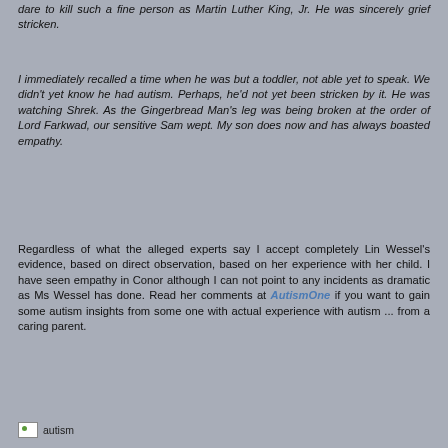dare to kill such a fine person as Martin Luther King, Jr. He was sincerely grief stricken.
I immediately recalled a time when he was but a toddler, not able yet to speak. We didn’t yet know he had autism. Perhaps, he’d not yet been stricken by it. He was watching Shrek. As the Gingerbread Man’s leg was being broken at the order of Lord Farkwad, our sensitive Sam wept. My son does now and has always boasted empathy.
Regardless of what the alleged experts say I accept completely Lin Wessel's evidence, based on direct observation, based on her experience with her child. I have seen empathy in Conor although I can not point to any incidents as dramatic as Ms Wessel has done. Read her comments at AutismOne if you want to gain some autism insights from some one with actual experience with autism ... from a caring parent.
[Figure (illustration): Small thumbnail image labeled 'autism']